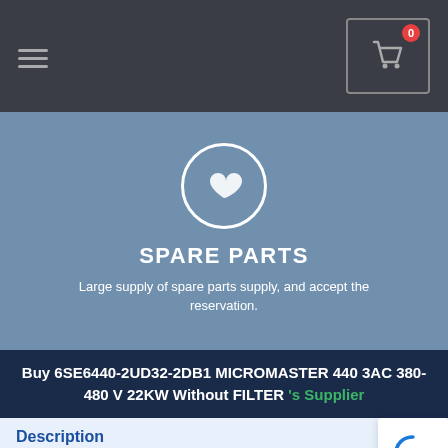[Figure (screenshot): Navigation bar with hamburger menu icon on left and shopping cart icon with badge showing 0 on right in a dark gray box]
[Figure (illustration): Blue-gray hero banner with white circle heart icon, bold title SPARE PARTS, and subtitle text about large supply]
SPARE PARTS
Large supply of spare parts supply, and accept the reservation.
Buy 6SE6440-2UD32-2DB1 MICROMASTER 440 3AC 380-480 V 22KW Without FILTER 's Supplier
Description
| Successor | 6SE6440-2UD32-2DB1 |